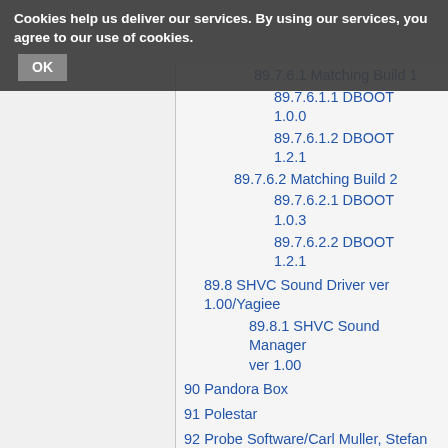Cookies help us deliver our services. By using our services, you agree to our use of cookies. OK
89.7.6.1 Matching Build 1
89.7.6.1.1 DBOOT 1.0.0
89.7.6.1.2 DBOOT 1.2.1
89.7.6.2 Matching Build 2
89.7.6.2.1 DBOOT 1.0.3
89.7.6.2.2 DBOOT 1.2.1
89.8 SHVC Sound Driver ver 1.00/Yagiee
89.8.1 SHVC Sound Manager ver 1.00
90 Pandora Box
91 Polestar
92 Probe Software/Carl Muller, Stefan Walker, Sean Dunlevy, Jason Gee
92.1 No signature (earliest version)
92.2 Music/FX by Probe Software
93 Probe Software (later)